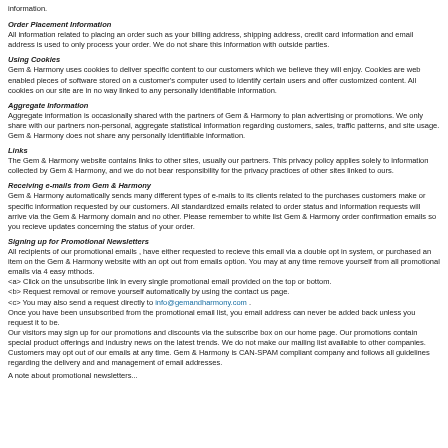information.
Order Placement Information
All information related to placing an order such as your billing address, shipping address, credit card information and email address is used to only process your order. We do not share this information with outside parties.
Using Cookies
Gem & Harmony uses cookies to deliver specific content to our customers which we believe they will enjoy. Cookies are web enabled pieces of software stored on a customer's computer used to identify certain users and offer customized content. All cookies on our site are in no way linked to any personally identifiable information.
Aggregate Information
Aggregate information is occasionally shared with the partners of Gem & Harmony to plan advertising or promotions. We only share with our partners non-personal, aggregate statistical information regarding customers, sales, traffic patterns, and site usage. Gem & Harmony does not share any personally identifiable information.
Links
The Gem & Harmony website contains links to other sites, usually our partners. This privacy policy applies solely to information collected by Gem & Harmony, and we do not bear responsibility for the privacy practices of other sites linked to ours.
Receiving e-mails from Gem & Harmony
Gem & Harmony automatically sends many different types of e-mails to its clients related to the purchases customers make or specific information requested by our customers. All standardized emails related to order status and information requests will arrive via the Gem & Harmony domain and no other. Please remember to white list Gem & Harmony order confirmation emails so you recieve updates concerning the status of your order.
Signing up for Promotional Newsletters
All recipients of our promotional emails , have either requested to recieve this email via a double opt in system, or purchased an item on the Gem & Harmony website with an opt out from emails option. You may at any time remove yourself from all promotional emails via 4 easy mthods.
<a> Click on the unsubscribe link in every single promotional email provided on the top or bottom.
<b> Request removal or remove yourself automatically by using the contact us page.
<c> You may also send a request directly to info@gemandharmony.com .
Once you have been unsubscribed from the promotional email list, you email address can never be added back unless you request it to be.
Our visitors may sign up for our promotions and discounts via the subscribe box on our home page. Our promotions contain special product offerings and industry news on the latest trends. We do not make our mailing list available to other companies. Customers may opt out of our emails at any time. Gem & Harmony is CAN-SPAM compliant company and follows all guidelines regarding the delivery and and management of email addresses.
A note about promotional newsletters...